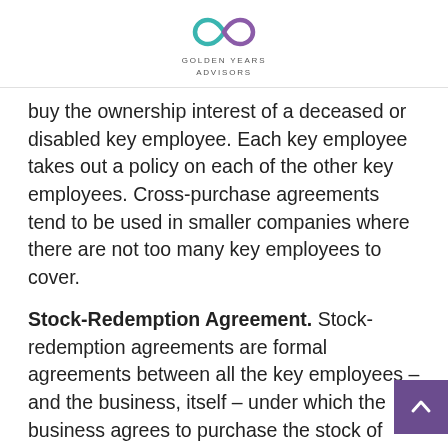[Figure (logo): Golden Years Advisors logo with infinity symbol in teal/purple and company name below]
buy the ownership interest of a deceased or disabled key employee. Each key employee takes out a policy on each of the other key employees. Cross-purchase agreements tend to be used in smaller companies where there are not too many key employees to cover.
Stock-Redemption Agreement. Stock-redemption agreements are formal agreements between all the key employees – and the business, itself – under which the business agrees to purchase the stock of deceased key employees. Key employees agree to sell their shares to the company often in exchange for a cash value.
The agreement establishes a set value for...